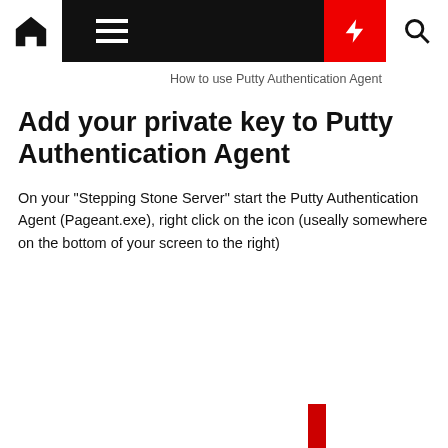How to use Putty Authentication Agent
Add your private key to Putty Authentication Agent
On your "Stepping Stone Server" start the Putty Authentication Agent (Pageant.exe), right click on the icon (useally somewhere on the bottom of your screen to the right)
[Figure (screenshot): Context menu from Pageant/Putty Authentication Agent showing options: New Session, Saved Sessions (with submenu arrow), View Keys (highlighted in blue with cursor), Add Key, Help, About]